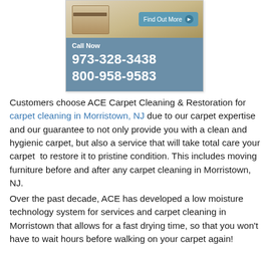[Figure (screenshot): Advertisement box showing a room image at top with a 'Find Out More' button, and a blue panel below with 'Call Now' text and phone numbers 973-328-3438 and 800-958-9583]
Customers choose ACE Carpet Cleaning & Restoration for carpet cleaning in Morristown, NJ due to our carpet expertise and our guarantee to not only provide you with a clean and hygienic carpet, but also a service that will take total care your carpet  to restore it to pristine condition. This includes moving furniture before and after any carpet cleaning in Morristown, NJ.
Over the past decade, ACE has developed a low moisture technology system for services and carpet cleaning in Morristown that allows for a fast drying time, so that you won't have to wait hours before walking on your carpet again!